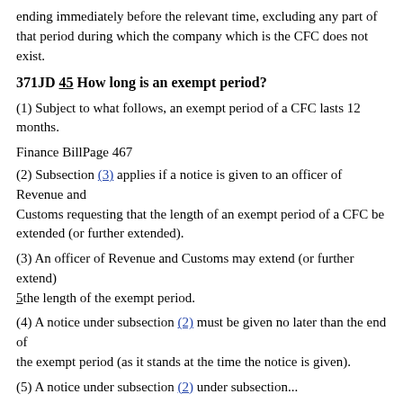ending immediately before the relevant time, excluding any part of that period during which the company which is the CFC does not exist.
371JD 45 How long is an exempt period?
(1) Subject to what follows, an exempt period of a CFC lasts 12 months.
Finance BillPage 467
(2) Subsection (3) applies if a notice is given to an officer of Revenue and Customs requesting that the length of an exempt period of a CFC be extended (or further extended).
(3) An officer of Revenue and Customs may extend (or further extend) 5the length of the exempt period.
(4) A notice under subsection (2) must be given no later than the end of the exempt period (as it stands at the time the notice is given).
(5) A notice under subsection (2) under subsection ...